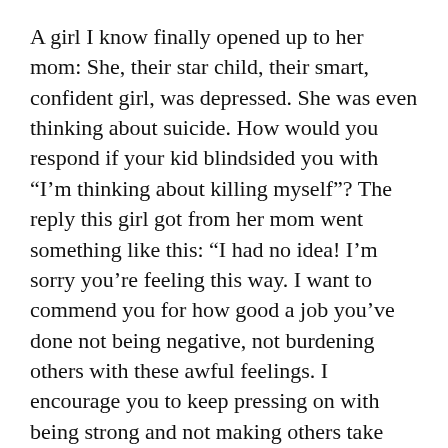A girl I know finally opened up to her mom: She, their star child, their smart, confident girl, was depressed. She was even thinking about suicide. How would you respond if your kid blindsided you with “I’m thinking about killing myself”? The reply this girl got from her mom went something like this: “I had no idea! I’m sorry you’re feeling this way. I want to commend you for how good a job you’ve done not being negative, not burdening others with these awful feelings. I encourage you to keep pressing on with being strong and not making others take care of you.” . . . what?! . . .
In those moments, you and I can prove to someone that they’re not alone, or we can